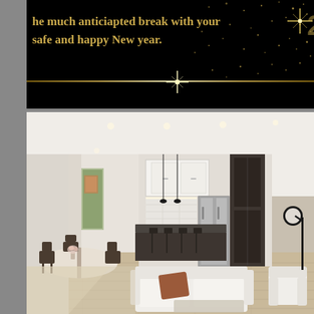[Figure (photo): New Year greeting banner on black background with gold text reading 'the much anticiapted break with your safe and happy New year.' with golden star decorations and a gold horizontal line with star burst in the center, and scattered gold dots/stars in the upper right]
[Figure (photo): Interior render of a modern open-plan apartment showing living, dining and kitchen areas. White sofa with rust/terracotta cushion in foreground, dining table with dark wishbone chairs on left, kitchen with white cabinets and dark island with bar stools in center-back, stainless steel refrigerator, dark pantry cabinet, arc floor lamp with globe shade on right, white armchair, light timber flooring, white ceiling with recessed lighting.]